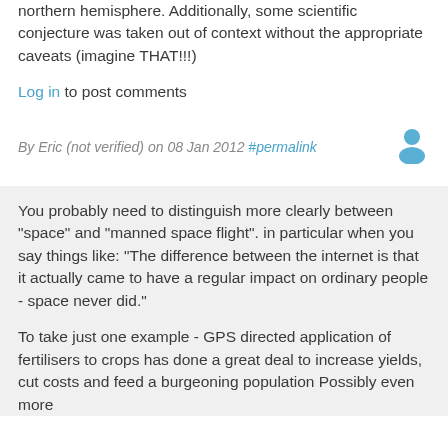northern hemisphere. Additionally, some scientific conjecture was taken out of context without the appropriate caveats (imagine THAT!!!)
Log in to post comments
By Eric (not verified) on 08 Jan 2012 #permalink
You probably need to distinguish more clearly between "space" and "manned space flight". in particular when you say things like: "The difference between the internet is that it actually came to have a regular impact on ordinary people - space never did."
To take just one example - GPS directed application of fertilisers to crops has done a great deal to increase yields, cut costs and feed a burgeoning population Possibly even more